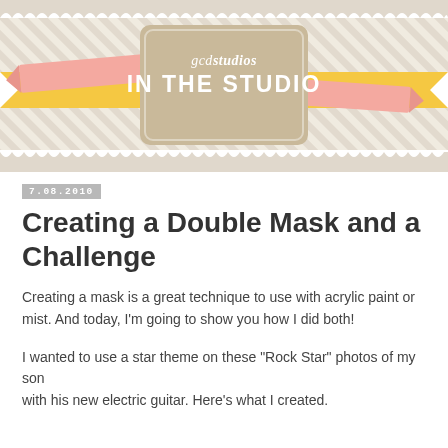[Figure (illustration): GCD Studios 'In The Studio' banner logo with kraft paper center box, diagonal striped background, yellow horizontal ribbon, pink angled ribbons on left and right, and scalloped borders at top and bottom.]
7.08.2010
Creating a Double Mask and a Challenge
Creating a mask is a great technique to use with acrylic paint or mist. And today, I'm going to show you how I did both!
I wanted to use a star theme on these "Rock Star" photos of my son with his new electric guitar. Here's what I created.